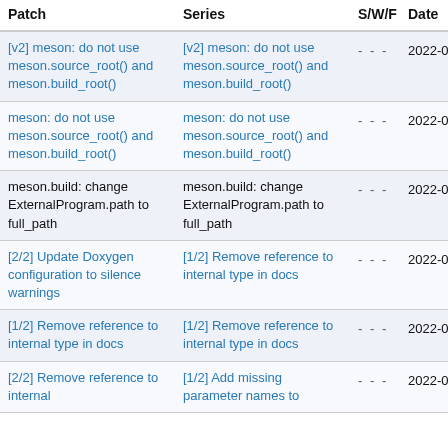| Patch | Series | S/W/F | Date |
| --- | --- | --- | --- |
| [v2] meson: do not use meson.source_root() and meson.build_root() | [v2] meson: do not use meson.source_root() and meson.build_root() | - - - | 2022-03- |
| meson: do not use meson.source_root() and meson.build_root() | meson: do not use meson.source_root() and meson.build_root() | - - - | 2022-03- |
| meson.build: change ExternalProgram.path to full_path | meson.build: change ExternalProgram.path to full_path | - - - | 2022-03- |
| [2/2] Update Doxygen configuration to silence warnings | [1/2] Remove reference to internal type in docs | - - - | 2022-03- |
| [1/2] Remove reference to internal type in docs | [1/2] Remove reference to internal type in docs | - - - | 2022-03- |
| [2/2] Remove reference to internal | [1/2] Add missing parameter names to | - - - | 2022-03- |